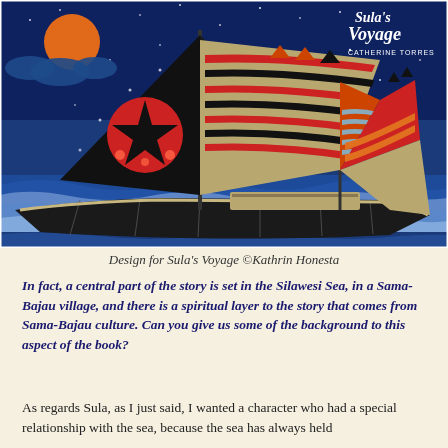[Figure (illustration): Illustrated book cover or design for Sula's Voyage by Catherine Torres, showing a decorative sailing boat with patterned sails on a night sea with orange sun/moon, stars, and waves. The illustration features a large black sail with a red starfish circle motif and striped patterns in red, orange, and grey. The boat sails on stylized blue waves. Text 'Sula's Voyage' and 'CATHERINE TORRES' appears in the top right corner.]
Design for Sula's Voyage ©Kathrin Honesta
In fact, a central part of the story is set in the Silawesi Sea, in a Sama-Bajau village, and there is a spiritual layer to the story that comes from Sama-Bajau culture. Can you give us some of the background to this aspect of the book?
As regards Sula, as I just said, I wanted a character who had a special relationship with the sea, because the sea has always held